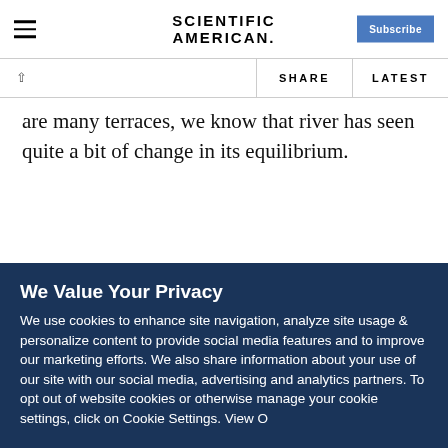Scientific American
are many terraces, we know that river has seen quite a bit of change in its equilibrium.
We Value Your Privacy
We use cookies to enhance site navigation, analyze site usage & personalize content to provide social media features and to improve our marketing efforts. We also share information about your use of our site with our social media, advertising and analytics partners. To opt out of website cookies or otherwise manage your cookie settings, click on Cookie Settings. View O